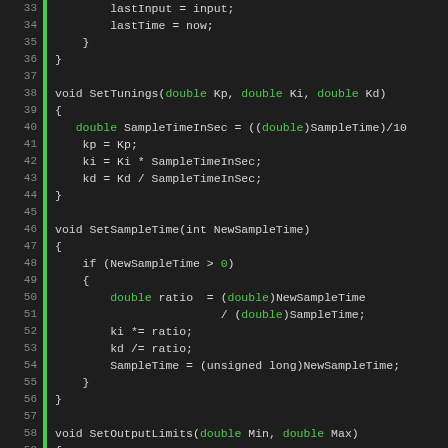[Figure (screenshot): Source code editor showing C++ PID controller implementation, lines 33-67, with green line change indicators and syntax highlighting. Functions include SetTunings, SetSampleTime, and SetOutputLimits.]